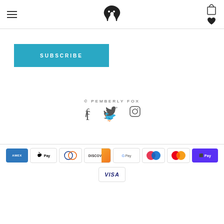[Figure (logo): Navigation header with hamburger menu, fox logo, shopping bag and heart icons]
[Figure (illustration): Subscribe button in teal/blue color]
© PEMBERLY FOX
[Figure (illustration): Social media icons: Facebook, Twitter, Instagram]
[Figure (illustration): Payment method icons: American Express, Apple Pay, Diners Club, Discover, Google Pay, Maestro, Mastercard, Shop Pay, Visa]